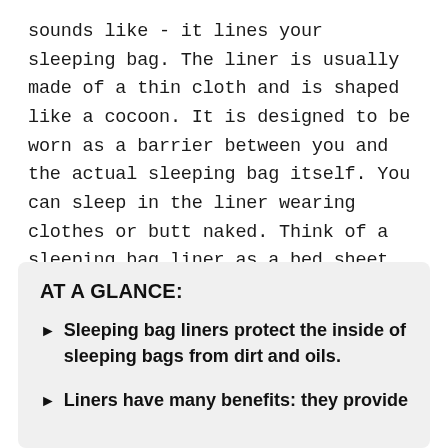sounds like - it lines your sleeping bag. The liner is usually made of a thin cloth and is shaped like a cocoon. It is designed to be worn as a barrier between you and the actual sleeping bag itself. You can sleep in the liner wearing clothes or butt naked. Think of a sleeping bag liner as a bed sheet for the backcountry.
AT A GLANCE:
Sleeping bag liners protect the inside of sleeping bags from dirt and oils.
Liners have many benefits: they provide